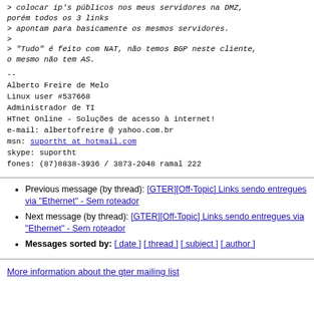> colocar ip's públicos nos meus servidores na DMZ, porém todos os 3 links
> apontam para basicamente os mesmos servidores.
>
> "Tudo" é feito com NAT, não temos BGP neste cliente, o mesmo não tem AS.
--
Alberto Freire de Melo
Linux user #537668
Administrador de TI
HTnet Online - Soluções de acesso à internet!
e-mail: albertofreire @ yahoo.com.br
msn: suportht at hotmail.com
skype: suportht
fones: (87)8838-3936 / 3873-2048 ramal 222
Previous message (by thread): [GTER][Off-Topic] Links sendo entregues via "Ethernet" - Sem roteador
Next message (by thread): [GTER][Off-Topic] Links sendo entregues via "Ethernet" - Sem roteador
Messages sorted by: [ date ] [ thread ] [ subject ] [ author ]
More information about the gter mailing list